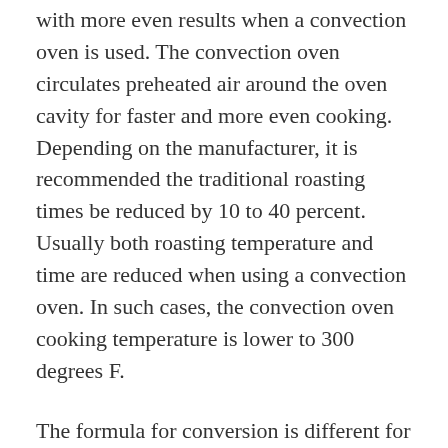with more even results when a convection oven is used. The convection oven circulates preheated air around the oven cavity for faster and more even cooking. Depending on the manufacturer, it is recommended the traditional roasting times be reduced by 10 to 40 percent. Usually both roasting temperature and time are reduced when using a convection oven. In such cases, the convection oven cooking temperature is lower to 300 degrees F.
The formula for conversion is different for each convection oven. Some manufacturers provide the conversion formulas on the front control panel of the oven.
The newest convection ovens feature an electronic